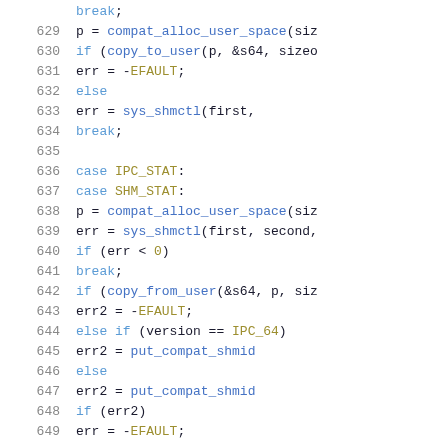[Figure (screenshot): Source code listing lines 629-649 showing C code for IPC/SHM control functions with syntax highlighting. Line numbers in grey on the left, keywords in blue, constants in olive/gold, function names in dark blue.]